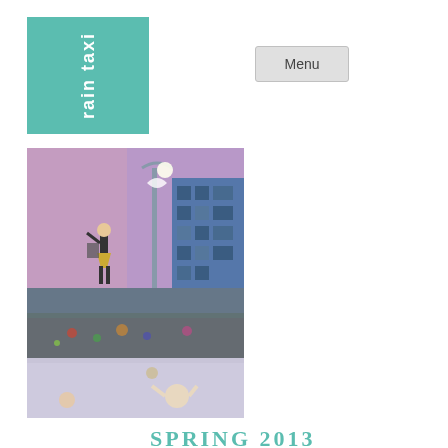[Figure (logo): Rain Taxi logo: teal/green square with white text 'rain taxi' written vertically]
Menu
[Figure (illustration): Magazine cover illustration showing a figure standing near a street lamp, urban scene with building in background, mixed colors of purple, blue, green and red]
SPRING 2013